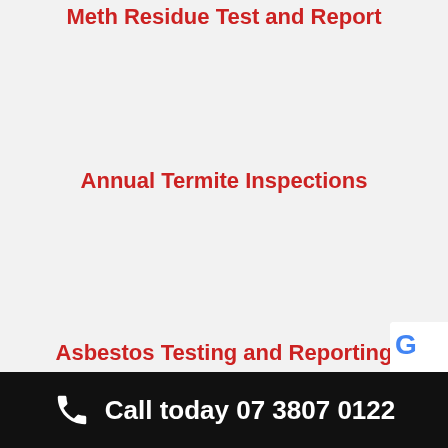Meth Residue Test and Report
Annual Termite Inspections
Asbestos Testing and Reporting
Call today 07 3807 0122